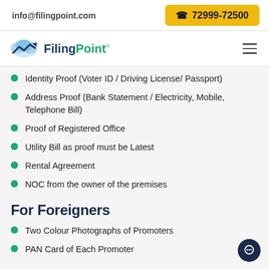info@filingpoint.com   72999-72500
[Figure (logo): FilingPoint logo with cloud and arrow icon]
Identity Proof (Voter ID / Driving License/ Passport)
Address Proof (Bank Statement / Electricity, Mobile, Telephone Bill)
Proof of Registered Office
Utility Bill as proof must be Latest
Rental Agreement
NOC from the owner of the premises
For Foreigners
Two Colour Photographs of Promoters
PAN Card of Each Promoter